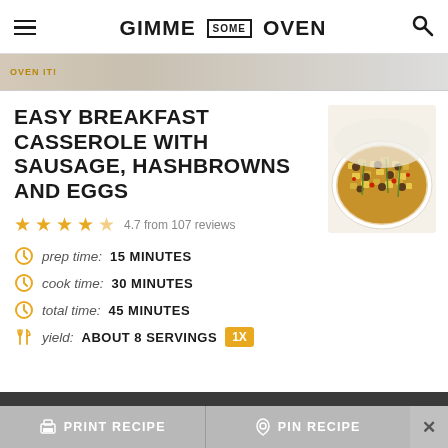GIMME SOME OVEN
[Figure (photo): Partial food photo strip at top showing dish with watermark 'OVEN IT!']
EASY BREAKFAST CASSEROLE WITH SAUSAGE, HASHBROWNS AND EGGS
[Figure (photo): Photo of breakfast casserole with sausage, hashbrowns, eggs, red peppers and green onions in a white dish]
4.7 from 107 reviews
prep time: 15 MINUTES
cook time: 30 MINUTES
total time: 45 MINUTES
yield: ABOUT 8 SERVINGS 1X
PRINT RECIPE
PIN RECIPE